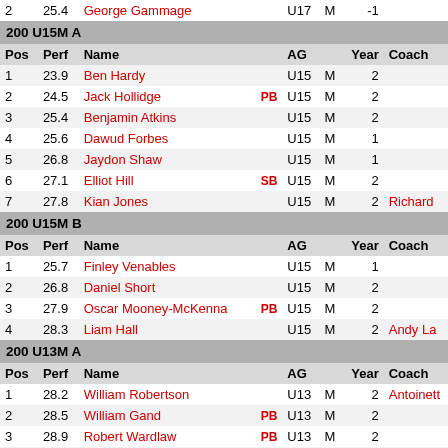| Pos | Perf | Name |  | AG |  | Year | Coach |
| --- | --- | --- | --- | --- | --- | --- | --- |
| 2 | 25.4 | George Gammage |  | U17 | M | -1 |  |
| 200 U15M A |  |  |  |  |  |  |  |
| Pos | Perf | Name |  | AG |  | Year | Coach |
| 1 | 23.9 | Ben Hardy |  | U15 | M | 2 |  |
| 2 | 24.5 | Jack Hollidge | PB | U15 | M | 2 |  |
| 3 | 25.4 | Benjamin Atkins |  | U15 | M | 2 |  |
| 4 | 25.6 | Dawud Forbes |  | U15 | M | 1 |  |
| 5 | 26.8 | Jaydon Shaw |  | U15 | M | 1 |  |
| 6 | 27.1 | Elliot Hill | SB | U15 | M | 2 |  |
| 7 | 27.8 | Kian Jones |  | U15 | M | 2 | Richard |
| 200 U15M B |  |  |  |  |  |  |  |
| Pos | Perf | Name |  | AG |  | Year | Coach |
| 1 | 25.7 | Finley Venables |  | U15 | M | 1 |  |
| 2 | 26.8 | Daniel Short |  | U15 | M | 2 |  |
| 3 | 27.9 | Oscar Mooney-McKenna | PB | U15 | M | 2 |  |
| 4 | 28.3 | Liam Hall |  | U15 | M | 2 | Andy La |
| 200 U13M A |  |  |  |  |  |  |  |
| Pos | Perf | Name |  | AG |  | Year | Coach |
| 1 | 28.2 | William Robertson |  | U13 | M | 2 | Antoinett |
| 2 | 28.5 | William Gand | PB | U13 | M | 2 |  |
| 3 | 28.9 | Robert Wardlaw | PB | U13 | M | 2 |  |
| 4 | 30.3 | Thomas Mawdsley |  | U13 | M | 1 |  |
| 5 | 31.9 | Oliver Burton |  | U13 | M | 1 |  |